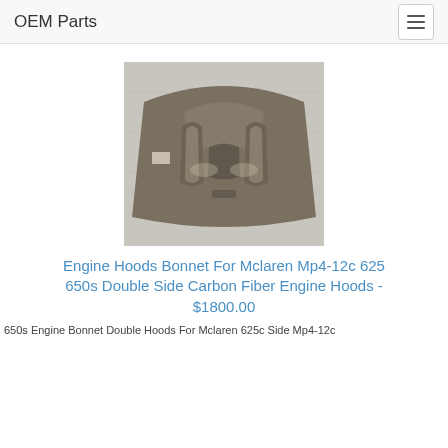OEM Parts
[Figure (photo): A carbon fiber / metallic engine hood bonnet for McLaren, photographed on a white/grey fabric background. The hood shows two raised ridges and has a dark grey/bronze metallic finish.]
Engine Hoods Bonnet For Mclaren Mp4-12c 625 650s Double Side Carbon Fiber Engine Hoods - $1800.00
650s Engine Bonnet Double Hoods For Mclaren 625c Side Mp4-12c